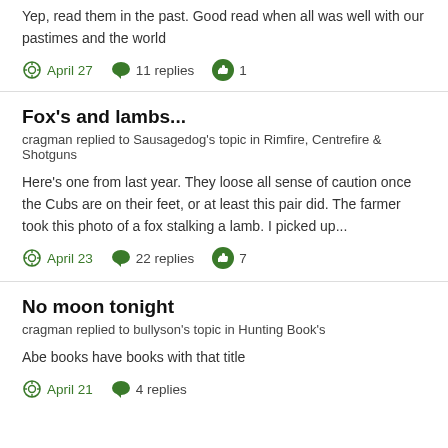Yep, read them in the past. Good read when all was well with our pastimes and the world
April 27  11 replies  1
Fox's and lambs...
cragman replied to Sausagedog's topic in Rimfire, Centrefire & Shotguns
Here's one from last year. They loose all sense of caution once the Cubs are on their feet, or at least this pair did. The farmer took this photo of a fox stalking a lamb. I picked up...
April 23  22 replies  7
No moon tonight
cragman replied to bullyson's topic in Hunting Book's
Abe books have books with that title
April 21  4 replies